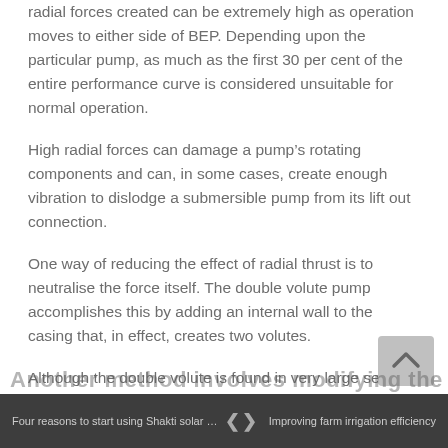radial forces created can be extremely high as operation moves to either side of BEP. Depending upon the particular pump, as much as the first 30 per cent of the entire performance curve is considered unsuitable for normal operation.
High radial forces can damage a pump’s rotating components and can, in some cases, create enough vibration to dislodge a submersible pump from its lift out connection.
One way of reducing the effect of radial thrust is to neutralise the force itself. The double volute pump accomplishes this by adding an internal wall to the casing that, in effect, creates two volutes.
Although the double volute is found in very large sewage pumps, it is not a workable solution when small to medium-sized solids handling pumps are involved.
Four reasons to start using Shakti solar …  ❮  ❯  Improving farm irrigation efficiency